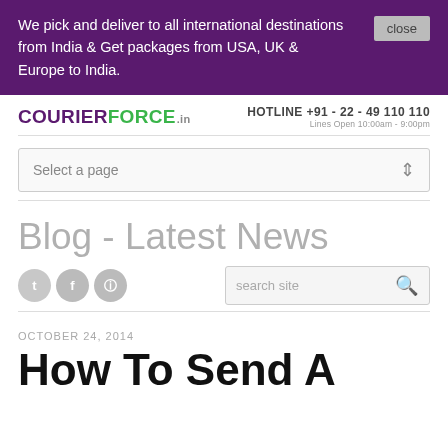We pick and deliver to all international destinations from India & Get packages from USA, UK & Europe to India.
[Figure (logo): CourierForce.in logo with green and purple text]
HOTLINE +91 - 22 - 49 110 110
Lines Open 10:00am - 9:00pm
Select a page
Blog - Latest News
[Figure (other): Social media icons: Twitter, Facebook, RSS]
search site
OCTOBER 24, 2014
How To Send A